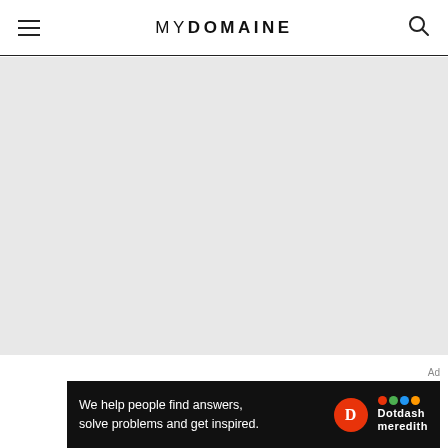MYDOMAINE
[Figure (photo): Large gray placeholder image area below the MyDomaine header navigation]
Ad
[Figure (infographic): Dotdash Meredith advertisement banner on black background: 'We help people find answers, solve problems and get inspired.' with Dotdash D logo and Dotdash Meredith branding with colored circles]